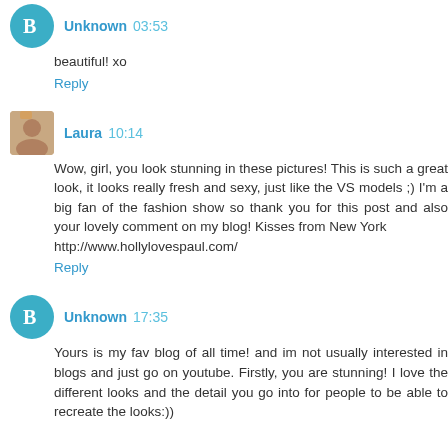Unknown 03:53
beautiful! xo
Reply
Laura 10:14
Wow, girl, you look stunning in these pictures! This is such a great look, it looks really fresh and sexy, just like the VS models ;) I'm a big fan of the fashion show so thank you for this post and also your lovely comment on my blog! Kisses from New York
http://www.hollylovespaul.com/
Reply
Unknown 17:35
Yours is my fav blog of all time! and im not usually interested in blogs and just go on youtube. Firstly, you are stunning! I love the different looks and the detail you go into for people to be able to recreate the looks:))